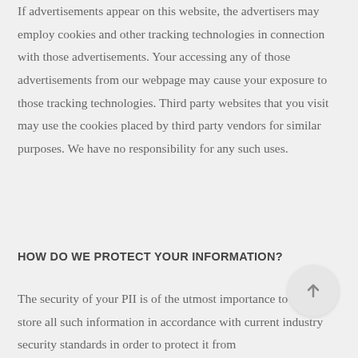If advertisements appear on this website, the advertisers may employ cookies and other tracking technologies in connection with those advertisements. Your accessing any of those advertisements from our webpage may cause your exposure to those tracking technologies. Third party websites that you visit may use the cookies placed by third party vendors for similar purposes. We have no responsibility for any such uses.
HOW DO WE PROTECT YOUR INFORMATION?
The security of your PII is of the utmost importance to us. We store all such information in accordance with current industry security standards in order to protect it from